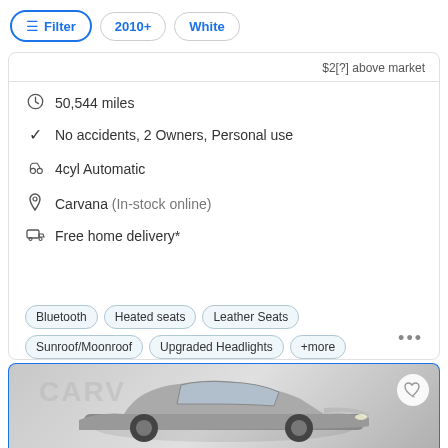Filter | 2010+ | White
$[X] above market
50,544 miles
No accidents, 2 Owners, Personal use
4cyl Automatic
Carvana (In-stock online)
Free home delivery*
Bluetooth   Heated seats   Leather Seats   Sunroof/Moonroof   Upgraded Headlights   +more
Check Availability
[Figure (photo): Partial view of a silver/grey sedan car on a Carvana listing page, showing the front and side profile of the vehicle. Carvana watermark visible in background.]